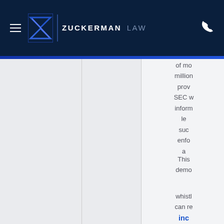Zuckerman Law
of more million prov SEC w inform le suc enfo a
This demo
whistl can re inc a perce